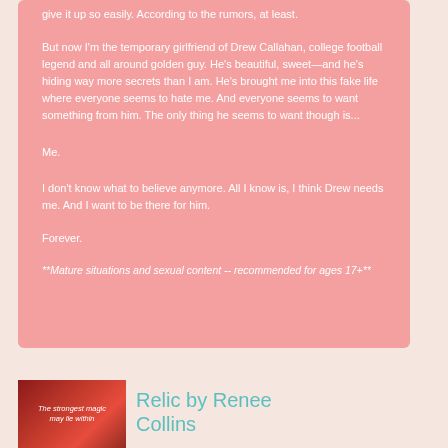give it up so easily. According to the rumors, at least.
But now I'm the temporary girlfriend of Drew Callahan, college football legend and all around golden guy. He's beautiful, sweet—and he's hiding way more secrets than I am. He's brought me into this fake life where everyone seems to hate me. And everyone seems to want something from him. The only thing he seems to want though is...
Me.
I don't know what to believe anymore. All I know is, I think Drew needs me. And I want to be there for him.
Forever.
**Mature situations and sexual content -- recommended for ages 17+**
[Figure (photo): Book cover with red/dark red background and italic text reading 'The strongest magic may lie within']
Relic by Renee Collins